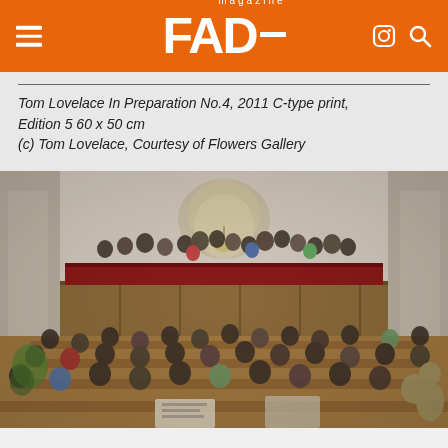FAD magazine
Tom Lovelace In Preparation No.4, 2011 C-type print, Edition 5 60 x 50 cm
(c) Tom Lovelace, Courtesy of Flowers Gallery
[Figure (photo): Interior of a large chamber or assembly hall with wooden paneling and seating. Many people are gathered, some seated at desks in the main floor area and a large group standing on an elevated balcony/stage area with red draping. The space has high walls, arched windows, and classical architectural features. The scene appears to depict some kind of public assembly or protest occupation of a parliamentary chamber.]